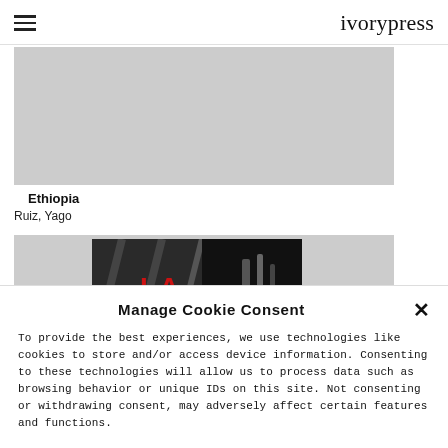ivorypress
[Figure (photo): Gray placeholder image for first product (Ethiopia book cover area)]
Ethiopia
Ruiz, Yago
[Figure (photo): Second product image, partially visible, showing a dark photo with geometric shapes and red letters 'LA']
Manage Cookie Consent
To provide the best experiences, we use technologies like cookies to store and/or access device information. Consenting to these technologies will allow us to process data such as browsing behavior or unique IDs on this site. Not consenting or withdrawing consent, may adversely affect certain features and functions.